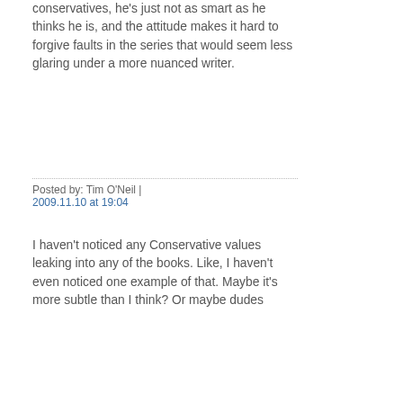conservatives, he's just not as smart as he thinks he is, and the attitude makes it hard to forgive faults in the series that would seem less glaring under a more nuanced writer.
Posted by: Tim O'Neil | 2009.11.10 at 19:04
I haven't noticed any Conservative values leaking into any of the books. Like, I haven't even noticed one example of that. Maybe it's more subtle than I think? Or maybe dudes